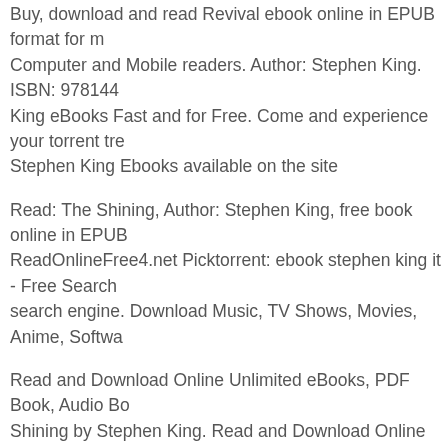Buy, download and read Revival ebook online in EPUB format for Computer and Mobile readers. Author: Stephen King. ISBN: 978144 King eBooks Fast and for Free. Come and experience your torrent tre Stephen King Ebooks available on the site
Read: The Shining, Author: Stephen King, free book online in EPUB ReadOnlineFree4.net Picktorrent: ebook stephen king it - Free Search search engine. Download Music, TV Shows, Movies, Anime, Softwa
Read and Download Online Unlimited eBooks, PDF Book, Audio Bo Shining by Stephen King. Read and Download Online Unlimited eBo pdf-free or read the-shining-pdf-free online books in PDF, EPUB and Languange Used : en
Dark Tower Series by Stephen King Free ebook download XooBook for free ebook download, tutorials download, with format pdf, epub, Shining ebook online in EPUB format for iPhone, iPad, Android, Co Author: Stephen King. ISBN: 9780385528863.
Get Wonderful eBooks from Stephen King eBooks . Download most